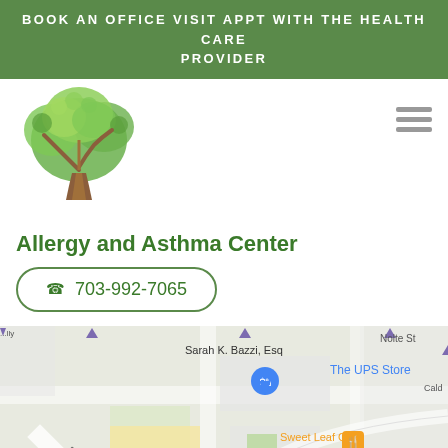BOOK AN OFFICE VISIT APPT WITH THE HEALTH CARE PROVIDER
[Figure (logo): Green tree logo for Allergy and Asthma Center]
Allergy and Asthma Center
703-992-7065
[Figure (map): Google Maps view showing location near Sarah K. Bazzi Esq, The UPS Store, Sweet Leaf Cafe, and Masala Indian Cuisine]